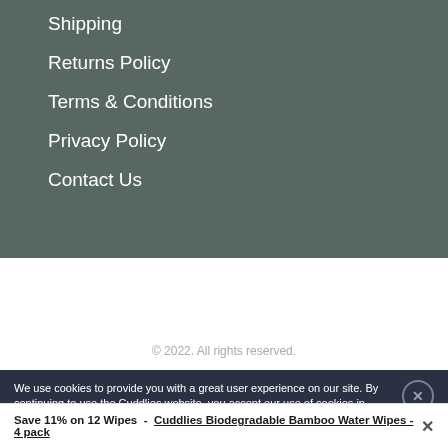Shipping
Returns Policy
Terms & Conditions
Privacy Policy
Contact Us
© 2022. All rights reserved.
We use cookies to provide you with a great user experience on our site. By continuing to use the Cuddlies website, you accept our use of cookies in
Save 11% on 12 Wipes - Cuddlies Biodegradable Bamboo Water Wipes - 4 pack